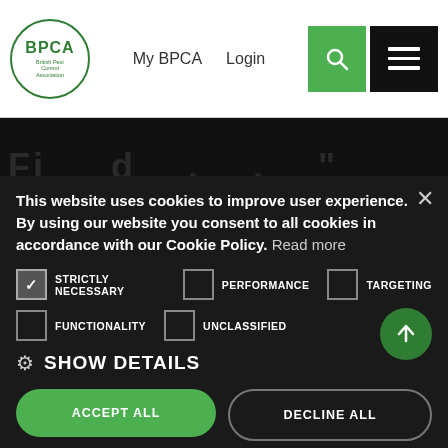[Figure (logo): BPCA British Pest Control Association circular logo in green]
My BPCA    Login
This website uses cookies to improve user experience. By using our website you consent to all cookies in accordance with our Cookie Policy. Read more
STRICTLY NECESSARY   PERFORMANCE   TARGETING
FUNCTIONALITY   UNCLASSIFIED
⚙ SHOW DETAILS
ACCEPT ALL
DECLINE ALL